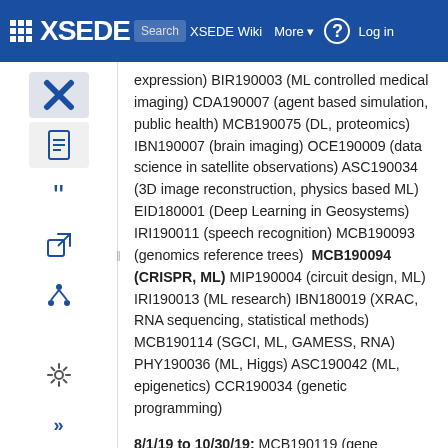XSEDE Wiki | More | Log in
expression) BIR190003 (ML controlled medical imaging) CDA190007 (agent based simulation, public health) MCB190075 (DL, proteomics) IBN190007 (brain imaging) OCE190009 (data science in satellite observations) ASC190034 (3D image reconstruction, physics based ML) EID180001 (Deep Learning in Geosystems) IRI190011 (speech recognition) MCB190093 (genomics reference trees)  MCB190094 (CRISPR, ML) MIP190004 (circuit design, ML) IRI190013 (ML research) IBN180019 (XRAC, RNA sequencing, statistical methods) MCB190114 (SGCI, ML, GAMESS, RNA) PHY190036 (ML, Higgs) ASC190042 (ML, epigenetics) CCR190034 (genetic programming)
8/1/19 to 10/30/19: MCB190119 (gene expression, ML) MCB190120 (protein structure, ML) IBN190041 (ML, DML)